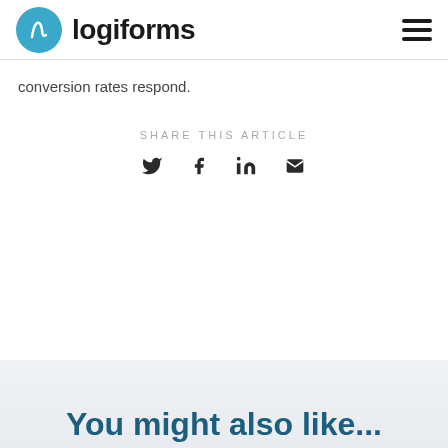logiforms
conversion rates respond.
SHARE THIS ARTICLE
You might also like...